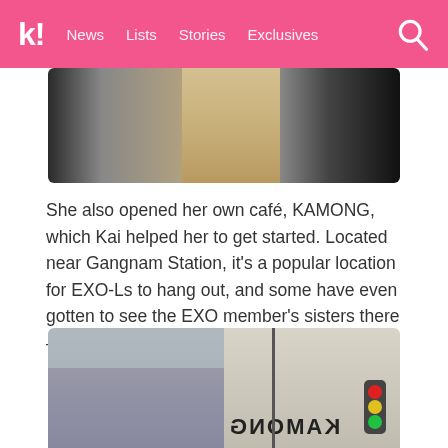k! News  Lists  Stories  Exclusives
[Figure (photo): Close-up photo of a person wearing a beige/tan coat against a dark background]
She also opened her own café, KAMONG, which Kai helped her to get started. Located near Gangnam Station, it's a popular location for EXO-Ls to hang out, and some have even gotten to see the EXO member's sisters there — and, on rare occasions, even Kai himself!
[Figure (photo): Photo of the KAMONG café exterior showing glass windows with the KAMONG name visible in reverse, buildings in the background, and a traffic light on the right side]